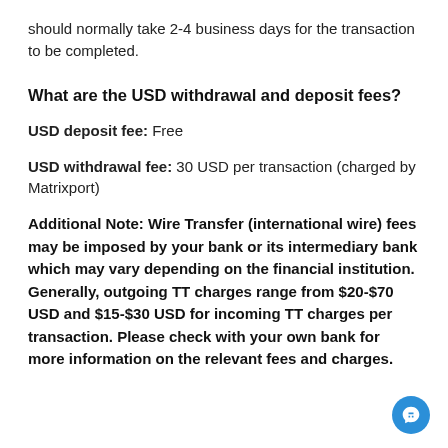should normally take 2-4 business days for the transaction to be completed.
What are the USD withdrawal and deposit fees?
USD deposit fee: Free
USD withdrawal fee: 30 USD per transaction (charged by Matrixport)
Additional Note: Wire Transfer (international wire) fees may be imposed by your bank or its intermediary bank which may vary depending on the financial institution. Generally, outgoing TT charges range from $20-$70 USD and $15-$30 USD for incoming TT charges per transaction. Please check with your own bank for more information on the relevant fees and charges.